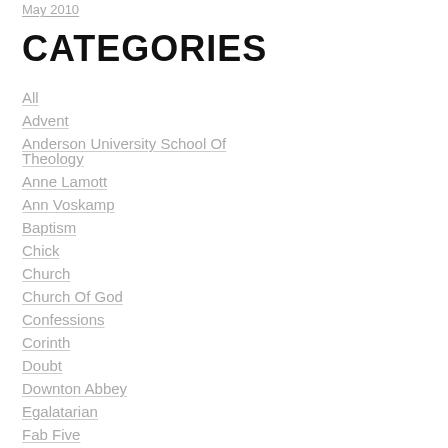May 2010
CATEGORIES
All
Advent
Anderson University School Of Theology
Anne Lamott
Ann Voskamp
Baptism
Chick
Church
Church Of God
Confessions
Corinth
Doubt
Downton Abbey
Egalatarian
Fab Five